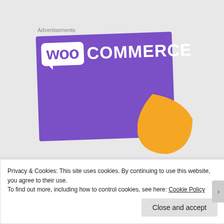Advertisements
[Figure (logo): WooCommerce logo on a purple card background with an orange decorative shape in the bottom right corner]
How to
start selling
Privacy & Cookies: This site uses cookies. By continuing to use this website, you agree to their use.
To find out more, including how to control cookies, see here: Cookie Policy
Close and accept